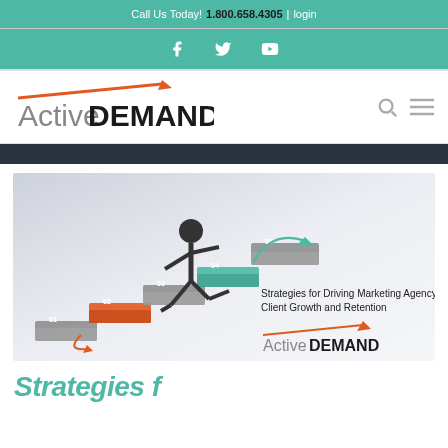Call Us Today! 1.800.658.4305 | login
[Figure (logo): Social media icons bar: Facebook, Twitter, YouTube on teal background]
[Figure (logo): ActiveDEMAND logo with orange arrow above, search and hamburger menu icons]
[Figure (infographic): Steps infographic showing a stick figure climbing numbered steps (01-05) with text 'Strategies for Driving Marketing Agency Client Growth and Retention' and ActiveDEMAND logo]
Strategies f